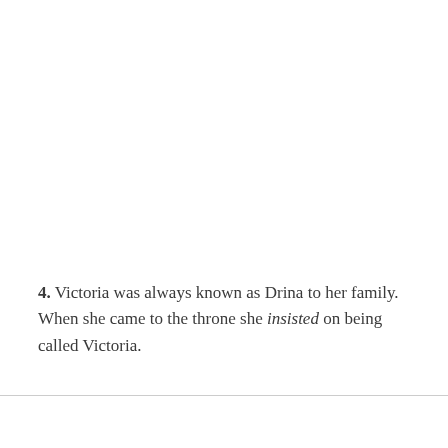4. Victoria was always known as Drina to her family. When she came to the throne she insisted on being called Victoria.